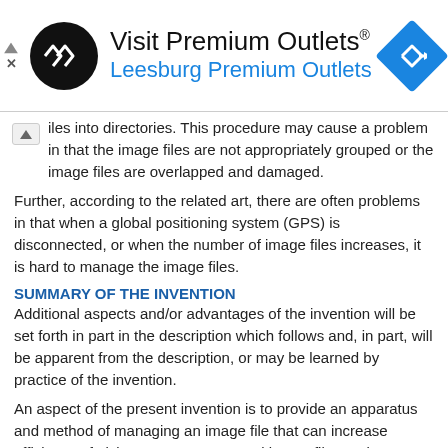[Figure (infographic): Advertisement banner for Visit Premium Outlets® / Leesburg Premium Outlets with logo and navigation icon]
iles into directories. This procedure may cause a problem in that the image files are not appropriately grouped or the image files are overlapped and damaged.
SUMMARY OF THE INVENTION
Additional aspects and/or advantages of the invention will be set forth in part in the description which follows and, in part, will be apparent from the description, or may be learned by practice of the invention.
An aspect of the present invention is to provide an apparatus and method of managing an image file that can increase efficiency of giving names to captured image files and managing the image files.
Aspects of the present invention are not limited to those mentioned above, and other objects of the present invention will be apparently understood by those skilled in the art through the following description.